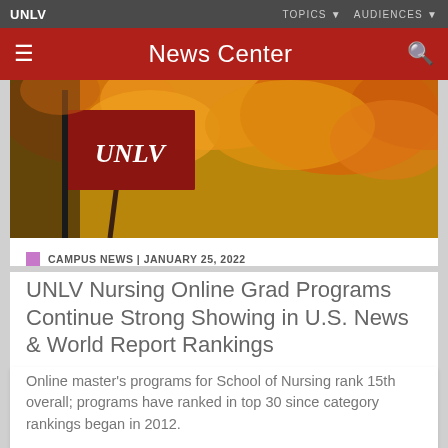UNLV
TOPICS ▼   AUDIENCES ▼
News Center
[Figure (photo): UNLV red banner flag against autumn foliage with orange and yellow leaves]
CAMPUS NEWS | JANUARY 25, 2022
UNLV Nursing Online Grad Programs Continue Strong Showing in U.S. News & World Report Rankings
Online master's programs for School of Nursing rank 15th overall; programs have ranked in top 30 since category rankings began in 2012.
[Figure (photo): Outdoor campus scene with green trees]